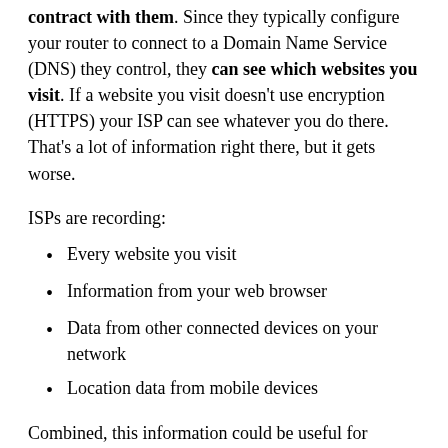contract with them. Since they typically configure your router to connect to a Domain Name Service (DNS) they control, they can see which websites you visit. If a website you visit doesn't use encryption (HTTPS) your ISP can see whatever you do there. That's a lot of information right there, but it gets worse.
ISPs are recording:
Every website you visit
Information from your web browser
Data from other connected devices on your network
Location data from mobile devices
Combined, this information could be useful for creating a very detailed profile of you that is